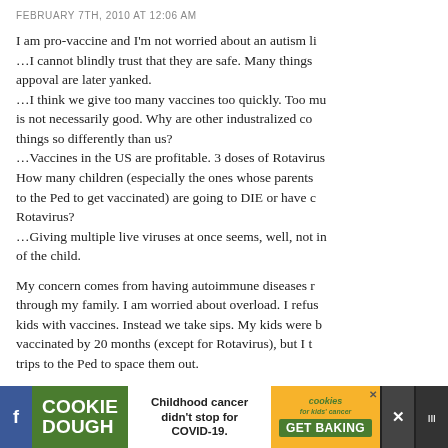FEBRUARY 7TH, 2010 AT 12:06 AM
I am pro-vaccine and I'm not worried about an autism li...I cannot blindly trust that they are safe. Many things appoval are later yanked.
...I think we give too many vaccines too quickly. Too mu is not necessarily good. Why are other industralized co things so differently than us?
...Vaccines in the US are profitable. 3 doses of Rotavirus How many children (especially the ones whose parents to the Ped to get vaccinated) are going to DIE or have c Rotavirus?
...Giving multiple live viruses at once seems, well, not in of the child.
My concern comes from having autoimmune diseases r through my family. I am worried about overload. I refus kids with vaccines. Instead we take sips. My kids were b vaccinated by 20 months (except for Rotavirus), but I t trips to the Ped to space them out.
[Figure (other): Advertisement banner at bottom: Cookie Dough ad with text 'Childhood cancer didn't stop for COVID-19.' and 'GET BAKING' button, with social media icons]